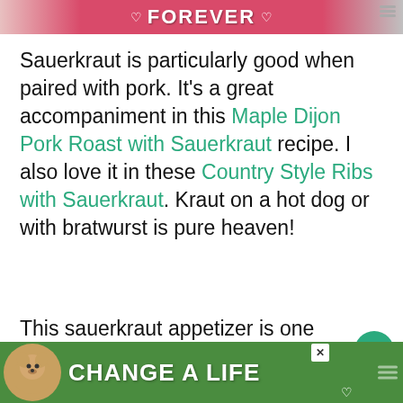[Figure (screenshot): Top advertisement banner with pink/red background showing 'FOREVER' text with heart icons and pet images]
Sauerkraut is particularly good when paired with pork. It's a great accompaniment in this Maple Dijon Pork Roast with Sauerkraut recipe. I also love it in these Country Style Ribs with Sauerkraut. Kraut on a hot dog or with bratwurst is pure heaven!
This sauerkraut appetizer is one more way to enjoy the salty, tangy goodness of sauerkraut and pork, but in a whole new form! It's such a fun appetizer because it's unexpected.
[Figure (screenshot): Bottom advertisement banner with green background showing a dog and 'CHANGE A LIFE' text]